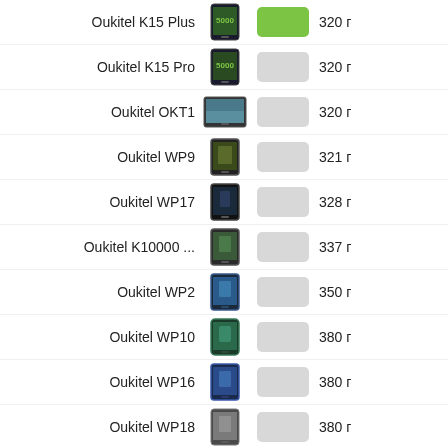Oukitel K15 Plus — 320 г
Oukitel K15 Pro — 320 г
Oukitel OKT1 — 320 г
Oukitel WP9 — 321 г
Oukitel WP17 — 328 г
Oukitel K10000 ... — 337 г
Oukitel WP2 — 350 г
Oukitel WP10 — 380 г
Oukitel WP16 — 380 г
Oukitel WP18 — 380 г